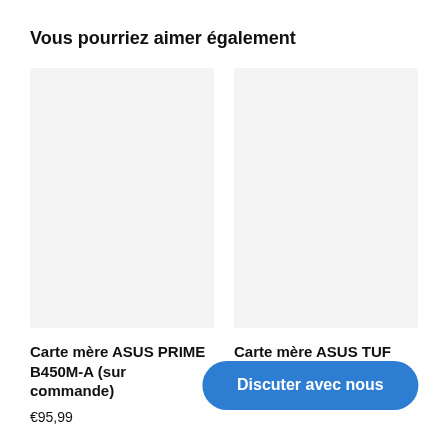Vous pourriez aimer également
[Figure (photo): Product image placeholder for Carte mère ASUS PRIME B450M-A — light grey rectangle]
Carte mère ASUS PRIME B450M-A (sur commande)
€95,99
[Figure (photo): Product image placeholder for Carte mère ASUS TUF GAMING — light grey rectangle]
Carte mère ASUS TUF GAMING … (sur commande)
€249,00
Discuter avec nous